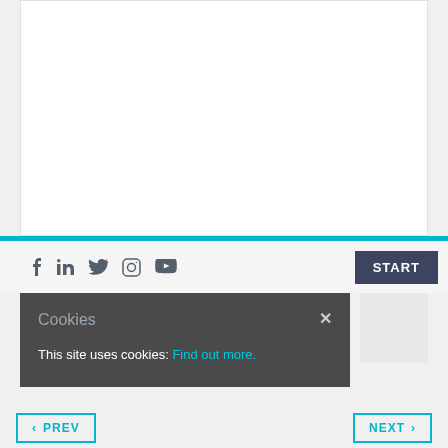[Figure (screenshot): White content area with teal horizontal bar below it]
Social media icons: f in (Twitter bird) (Instagram) (YouTube) | START button | PREV / NEXT navigation
Cookies × This site uses cookies: Find out more.